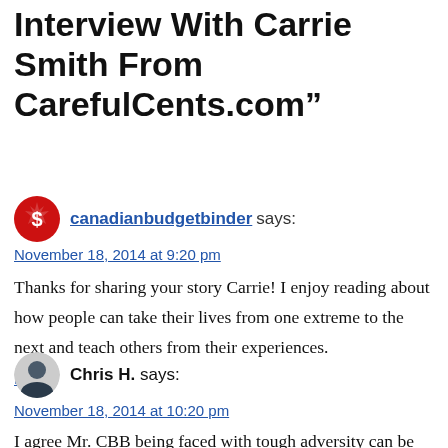Interview With Carrie Smith From CarefulCents.com”
canadianbudgetbinder says:
November 18, 2014 at 9:20 pm
Thanks for sharing your story Carrie! I enjoy reading about how people can take their lives from one extreme to the next and teach others from their experiences.
Reply
Chris H. says:
November 18, 2014 at 10:20 pm
I agree Mr. CBB being faced with tough adversity can be hard to deal with but she decided to take a